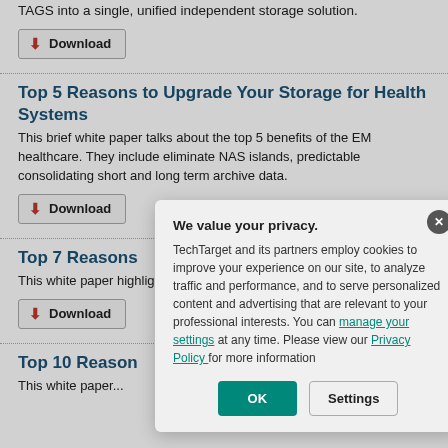TAGS into a single, unified independent storage solution.
Download
Top 5 Reasons to Upgrade Your Storage for Health Systems
This brief white paper talks about the top 5 benefits of the EM healthcare. They include eliminate NAS islands, predictable consolidating short and long term archive data.
Download
Top 7 Reasons
This white paper highlights solution for Hadoc while allowing for
Download
Top 10 Reason
This white paper...
[Figure (screenshot): Privacy consent modal dialog with title 'We value your privacy.' and text about TechTarget cookies policy, with links to 'manage your settings' and 'Privacy Policy', and buttons 'OK' and 'Settings']